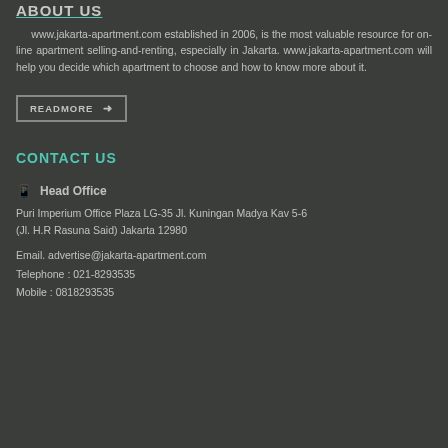ABOUT US
www.jakarta-apartment.com established in 2006, is the most valuable resource for on-line apartment selling-and-renting, especially in Jakarta. www.jakarta-apartment.com will help you decide which apartment to choose and how to know more about it.
READMORE →
CONTACT US
🏢 Head Office
Puri Imperium Office Plaza LG-35 Jl. Kuningan Madya Kav 5-6 (Jl. H.R Rasuna Said) Jakarta 12980
Email. advertise@jakarta-apartment.com
Telephone : 021-8293535
Mobile : 0818293535